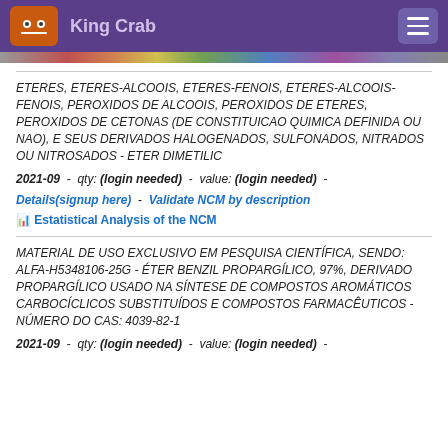King Crab
[Figure (infographic): Colorful banner strip below header]
ETERES, ETERES-ALCOOIS, ETERES-FENOIS, ETERES-ALCOOIS-FENOIS, PEROXIDOS DE ALCOOIS, PEROXIDOS DE ETERES, PEROXIDOS DE CETONAS (DE CONSTITUICAO QUIMICA DEFINIDA OU NAO), E SEUS DERIVADOS HALOGENADOS, SULFONADOS, NITRADOS OU NITROSADOS - ETER DIMETILIC
2021-09 - qty: (login needed) - value: (login needed) - Details(signup here) - Validate NCM by description
Estatistical Analysis of the NCM
MATERIAL DE USO EXCLUSIVO EM PESQUISA CIENTÍFICA, SENDO: ALFA-H5348106-25G - ÉTER BENZIL PROPARGÍLICO, 97%, DERIVADO PROPARGÍLICO USADO NA SÍNTESE DE COMPOSTOS AROMÁTICOS CARBOCÍCLICOS SUBSTITUÍDOS E COMPOSTOS FARMACÊUTICOS - NÚMERO DO CAS: 4039-82-1
2021-09 - qty: (login needed) - value: (login needed) -